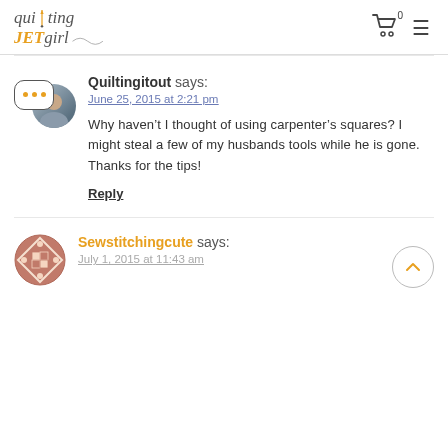Quilting JET girl
Quiltingitout says:
June 25, 2015 at 2:21 pm
Why haven't I thought of using carpenter's squares? I might steal a few of my husbands tools while he is gone. Thanks for the tips!
Reply
Sewstitchingcute says:
July 1, 2015 at 11:43 am